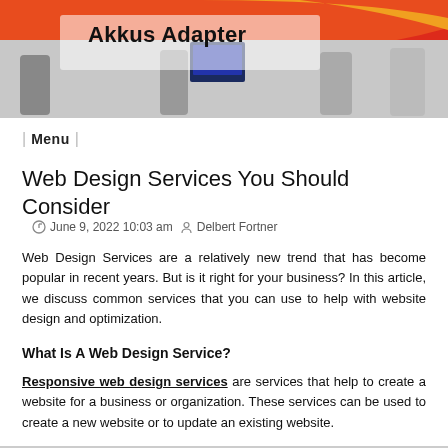Akkus Adapter
Menu
Web Design Services You Should Consider
June 9, 2022 10:03 am  Delbert Fortner
Web Design Services are a relatively new trend that has become popular in recent years. But is it right for your business? In this article, we discuss common services that you can use to help with website design and optimization.
What Is A Web Design Service?
Responsive web design services are services that help to create a website for a business or organization. These services can be used to create a new website or to update an existing website.